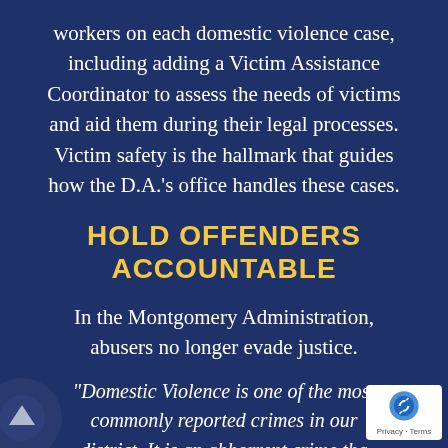workers on each domestic violence case, including adding a Victim Assistance Coordinator to assess the needs of victims and aid them during their legal processes. Victim safety is the hallmark that guides how the D.A.'s office handles these cases.
HOLD OFFENDERS ACCOUNTABLE
In the Montgomery Administration, abusers no longer evade justice.
“Domestic Violence is one of the most commonly reported crimes in our district. It is an abhorrent crime that destroys families and is the cause of percent of homicides in Washington